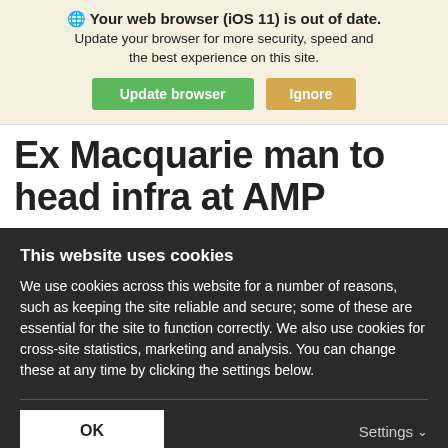Your web browser (iOS 11) is out of date. Update your browser for more security, speed and the best experience on this site.
Update browser | Ignore
Ex Macquarie man to head infra at AMP
AMP Capital Investors, the Sydney-based fund manager, has appointed former senior Macquarie executive Scott Davies as its new global head of infrastructure. Davies
This website uses cookies
We use cookies across this website for a number of reasons, such as keeping the site reliable and secure; some of these are essential for the site to function correctly. We also use cookies for cross-site statistics, marketing and analysis. You can change these at any time by clicking the settings below.
OK
Settings